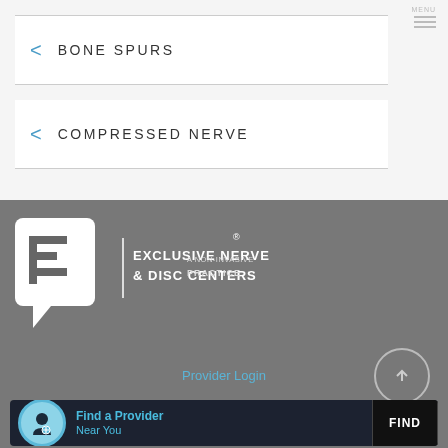BONE SPURS
COMPRESSED NERVE
[Figure (logo): Exclusive Nerve & Disc Centers logo — white speech-bubble icon with stylized E, text: EXCLUSIVE NERVE & DISC CENTERS | A NON-INVASIVE PRACTICE with registered trademark symbol]
Provider Login
[Figure (infographic): Find a Provider Near You banner with person icon and FIND button]